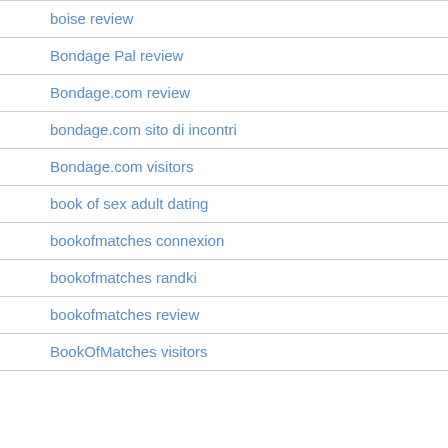boise review
Bondage Pal review
Bondage.com review
bondage.com sito di incontri
Bondage.com visitors
book of sex adult dating
bookofmatches connexion
bookofmatches randki
bookofmatches review
BookOfMatches visitors